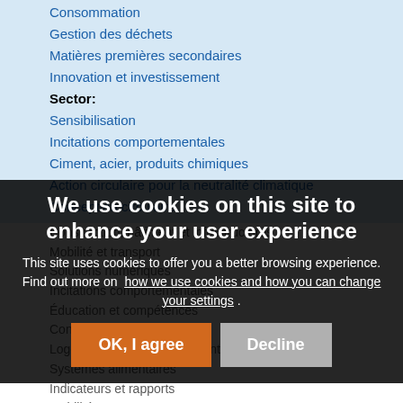Consommation
Gestion des déchets
Matières premières secondaires
Innovation et investissement
Sector:
Sensibilisation
Incitations comportementales
Ciment, acier, produits chimiques
Action circulaire pour la neutralité climatique
Conception circulaire
Construction, bâtiment et infrastructures
Mobilité et transport
Solutions numériques
Incitations comportementales
Éducation et compétences
Consommation
Logement et systèmes alimentaires
Systèmes alimentaires
Indicateurs et rapports
Mobilité et transport
Emballage
Plastiques, polymères
Produit en tant que service
Recyclage
Réparer, reconditionner, refabriquer, réaffecter
Distribution
We use cookies on this site to enhance your user experience
This site uses cookies to offer you a better browsing experience. Find out more on how we use cookies and how you can change your settings .
OK, I agree
Decline